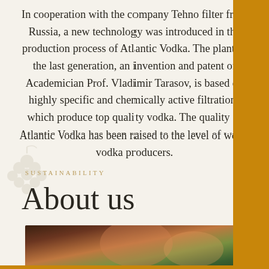In cooperation with the company Tehno filter from Russia, a new technology was introduced in the production process of Atlantic Vodka. The plant of the last generation, an invention and patent of Academician Prof. Vladimir Tarasov, is based on highly specific and chemically active filtrations which produce top quality vodka. The quality of Atlantic Vodka has been raised to the level of world vodka producers.
SUSTAINABILITY
About us
[Figure (photo): Close-up photo of colorful food or plant matter with warm tones, greens and reds visible]